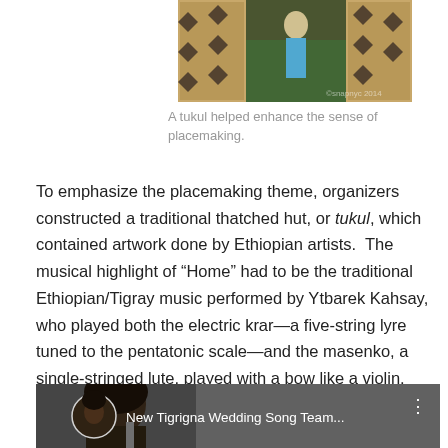[Figure (photo): Photo of a tukul (traditional thatched hut) with decorative patterns, partially visible at top of page]
A tukul helped enhance the sense of placemaking.
To emphasize the placemaking theme, organizers constructed a traditional thatched hut, or tukul, which contained artwork done by Ethiopian artists.  The musical highlight of “Home” had to be the traditional Ethiopian/Tigray music performed by Ytbarek Kahsay, who played both the electric krar—a five-string lyre tuned to the pentatonic scale—and the masenko, a single-stringed lute, played with a bow like a violin.
[Figure (screenshot): YouTube video thumbnail showing a man, with title 'New Tigrigna Wedding Song Team...']